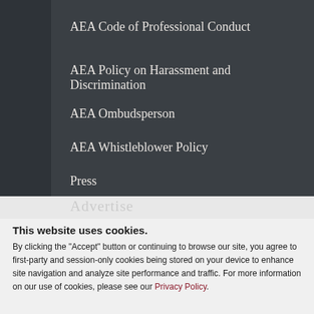AEA Code of Professional Conduct
AEA Policy on Harassment and Discrimination
AEA Ombudsperson
AEA Whistleblower Policy
Press
Advertise
This website uses cookies.
By clicking the "Accept" button or continuing to browse our site, you agree to first-party and session-only cookies being stored on your device to enhance site navigation and analyze site performance and traffic. For more information on our use of cookies, please see our Privacy Policy.